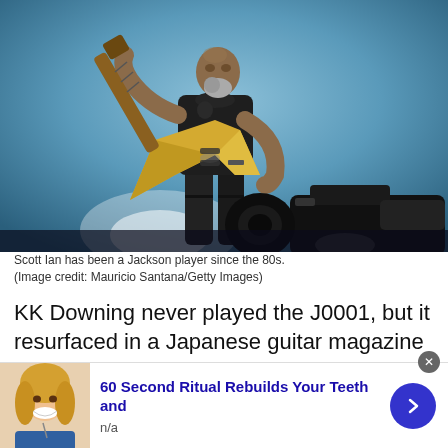[Figure (photo): Scott Ian of Anthrax performing on stage, playing a yellow Jackson flying-V style guitar, wearing a black t-shirt, with tattoos visible on his arms. Stage lighting and a camera operator visible in the foreground.]
Scott Ian has been a Jackson player since the 80s.
(Image credit: Mauricio Santana/Getty Images)
KK Downing never played the J0001, but it resurfaced in a Japanese guitar magazine circa-’85, brandished by Jay Reynolds of Malice, which is uncanny considering his band’s schtick was a little too close to Judas Priest’s for comfort.
[Figure (photo): Advertisement banner: '60 Second Ritual Rebuilds Your Teeth and' with a photo of a smiling woman and a blue arrow button. Sub-label: n/a]